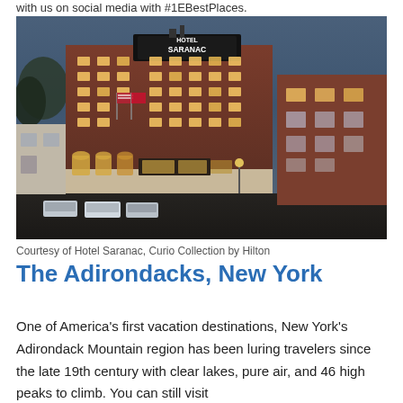with us on social media with #1EBestPlaces.
[Figure (photo): Exterior night/dusk photograph of Hotel Saranac, a large red-brick multi-story building with illuminated windows, flags on facade, ground-level storefronts, and a rooftop sign reading HOTEL SARANAC. Cars parked on street in foreground.]
Courtesy of Hotel Saranac, Curio Collection by Hilton
The Adirondacks, New York
One of America's first vacation destinations, New York's Adirondack Mountain region has been luring travelers since the late 19th century with clear lakes, pure air, and 46 high peaks to climb. You can still visit